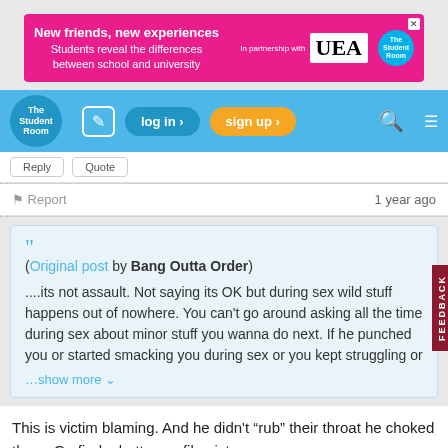[Figure (screenshot): Advertisement banner: pink background with text 'New friends, new experiences - Students reveal the differences between school and university' and UEA/The Student Room logos]
[Figure (screenshot): The Student Room navigation bar with logo, edit icon, log in button, sign up button, search icon, and menu icon]
Report   1 year ago
(Original post by Bang Outta Order)
....its not assault. Not saying its OK but during sex wild stuff happens out of nowhere. You can't go around asking all the time during sex about minor stuff you wanna do next. If he punched you or started smacking you during sex or you kept struggling or
…show more
This is victim blaming. And he didn't “rub” their throat he choked them. Go find a better profile picture